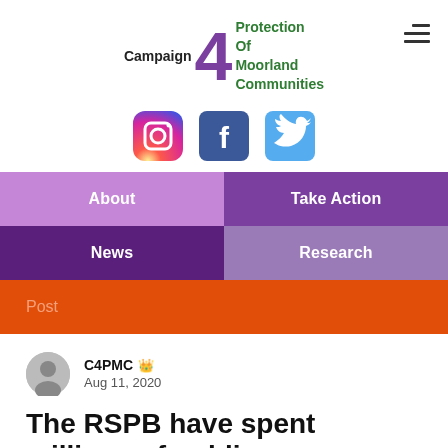[Figure (logo): Campaign 4 Protection Of Moorland Communities logo with large purple '4' numeral and green text, plus hamburger menu icon in top right]
[Figure (infographic): Three social media icons: Instagram (gradient circle), Facebook (blue square with 'f'), Twitter (light blue square with bird icon)]
[Figure (infographic): Navigation menu grid with four colored tiles: 'About' (light purple), 'Take Action' (dark purple), 'News' (deep purple), 'Research' (medium purple), and an orange 'Post' bar below]
C4PMC 👑
Aug 11, 2020
The RSPB have spent millions of public